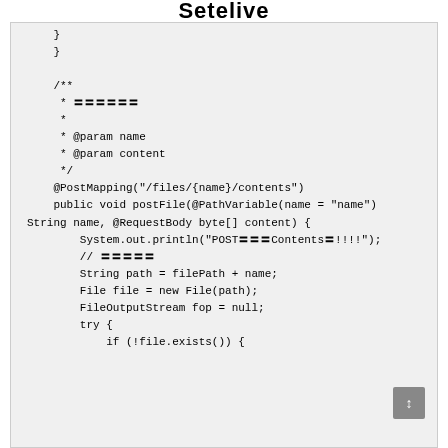Setelive
}
}

    /**
     * 〓〓〓〓〓〓
     *
     * @param name
     * @param content
     */
    @PostMapping("/files/{name}/contents")
    public void postFile(@PathVariable(name = "name") String name, @RequestBody byte[] content) {
        System.out.println("POST〓〓〓Contents〓!!!!");
        // 〓〓〓〓〓
        String path = filePath + name;
        File file = new File(path);
        FileOutputStream fop = null;
        try {
            if (!file.exists()) {